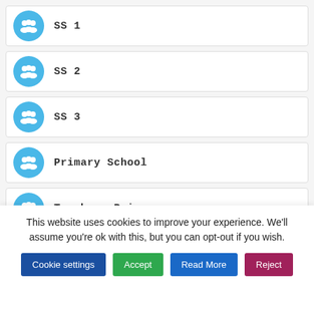SS 1
SS 2
SS 3
Primary School
Teachers Primary
This website uses cookies to improve your experience. We'll assume you're ok with this, but you can opt-out if you wish.
Cookie settings | Accept | Read More | Reject